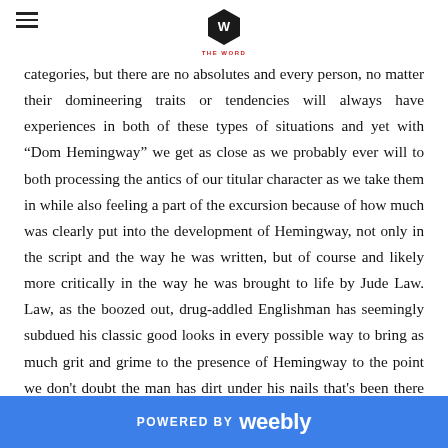THE WORD
categories, but there are no absolutes and every person, no matter their domineering traits or tendencies will always have experiences in both of these types of situations and yet with “Dom Hemingway” we get as close as we probably ever will to both processing the antics of our titular character as we take them in while also feeling a part of the excursion because of how much was clearly put into the development of Hemingway, not only in the script and the way he was written, but of course and likely more critically in the way he was brought to life by Jude Law. Law, as the boozed out, drug-addled Englishman has seemingly subdued his classic good looks in every possible way to bring as much grit and grime to the presence of Hemingway to the point we don't doubt the man has dirt under his nails that's been there the entire time he kept his mouth shut in prison. It is a shame the actual film can't keep up with the character, because the energy that flows through Law's blood-shot eyes and out of his saliva-slinging mouth is pure electric.
POWERED BY weebly